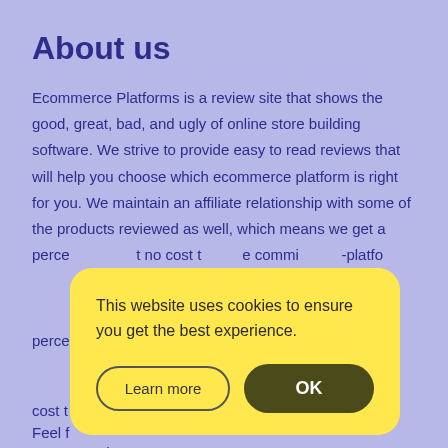About us
Ecommerce Platforms is a review site that shows the good, great, bad, and ugly of online store building software. We strive to provide easy to read reviews that will help you choose which ecommerce platform is right for you. We maintain an affiliate relationship with some of the products reviewed as well, which means we get a perce[ntage of the sale price at n]o cost t[o you. However, this does not affect our] comm[issions or editorial opinions. We only truly recommen]d e- platfo[rms that we love.]
[Figure (screenshot): Cookie consent modal with yellow background. Text reads 'This website uses cookies to ensure you get the best experience.' Two buttons: 'Learn more' (outline style) and 'OK' (dark filled style).]
Feel f[ree to get in] contact and ENJOY